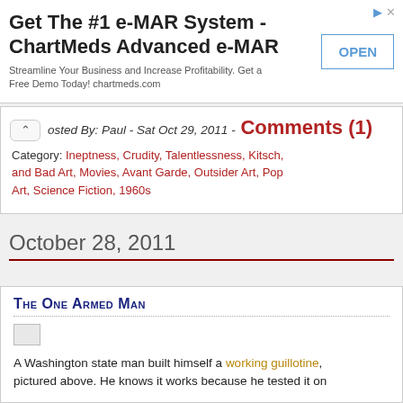[Figure (screenshot): Advertisement banner for ChartMeds Advanced e-MAR system with OPEN button]
Posted By: Paul - Sat Oct 29, 2011 - Comments (1)
Category: Ineptness, Crudity, Talentlessness, Kitsch, and Bad Art, Movies, Avant Garde, Outsider Art, Pop Art, Science Fiction, 1960s
October 28, 2011
The One Armed Man
A Washington state man built himself a working guillotine, pictured above. He knows it works because he tested it on